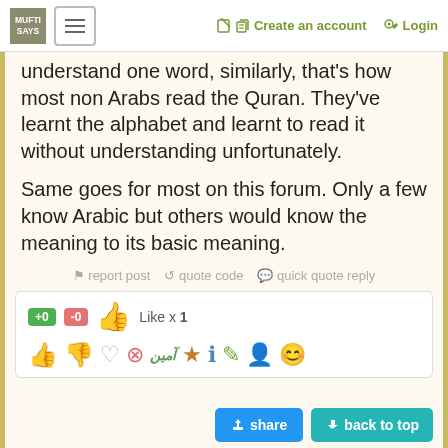MUFTI SAYS | ≡ | Create an account | Login
understand one word, similarly, that's how most non Arabs read the Quran. They've learnt the alphabet and learnt to read it without understanding unfortunately.
Same goes for most on this forum. Only a few know Arabic but others would know the meaning to its basic meaning.
report post  quote code  quick quote reply
+0  -0  👍  Like x 1
[Figure (other): Row of reaction emoji icons including thumbs up, thumbs down, heart, X, Ameen text, star, info, pen, person, and face icons]
share  back to top